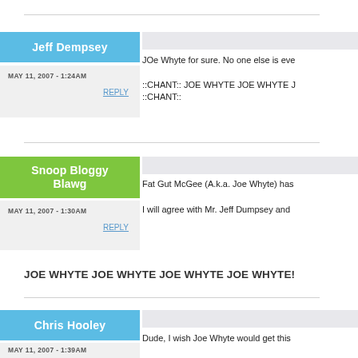Jeff Dempsey
MAY 11, 2007 - 1:24AM
REPLY
JOe Whyte for sure. No one else is eve
::CHANT:: JOE WHYTE JOE WHYTE J ::CHANT::
Snoop Bloggy Blawg
MAY 11, 2007 - 1:30AM
REPLY
Fat Gut McGee (A.k.a. Joe Whyte) has
I will agree with Mr. Jeff Dumpsey and
JOE WHYTE JOE WHYTE JOE WHYTE JOE WHYTE!
Chris Hooley
MAY 11, 2007 - 1:39AM
Dude, I wish Joe Whyte would get this